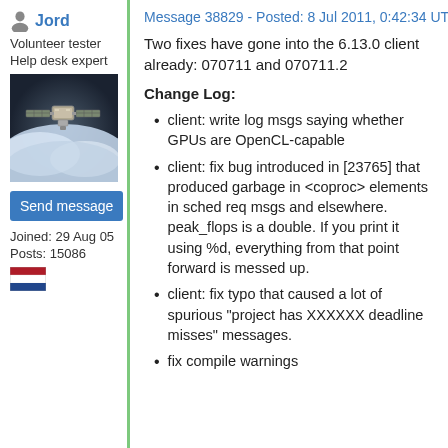Message 38829 - Posted: 8 Jul 2011, 0:42:34 UTC
Jord
Volunteer tester
Help desk expert
[Figure (photo): Photo of a spacecraft or satellite in orbit above Earth with clouds visible below]
Send message
Joined: 29 Aug 05
Posts: 15086
[Figure (illustration): Dutch flag icon]
Two fixes have gone into the 6.13.0 client already: 070711 and 070711.2
Change Log:
client: write log msgs saying whether GPUs are OpenCL-capable
client: fix bug introduced in [23765] that produced garbage in <coproc> elements in sched req msgs and elsewhere. peak_flops is a double. If you print it using %d, everything from that point forward is messed up.
client: fix typo that caused a lot of spurious "project has XXXXXX deadline misses" messages.
fix compile warnings